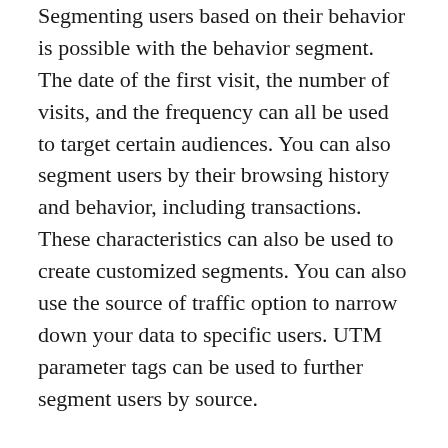Segmenting users based on their behavior is possible with the behavior segment. The date of the first visit, the number of visits, and the frequency can all be used to target certain audiences. You can also segment users by their browsing history and behavior, including transactions. These characteristics can also be used to create customized segments. You can also use the source of traffic option to narrow down your data to specific users. UTM parameter tags can be used to further segment users by source.
You can create user-based segments that allow you to choose the dates your visitors will be able to visit your website. The date ranges typically span between 93 and 96 days. A single view can have up to 1000 segments. For user-based